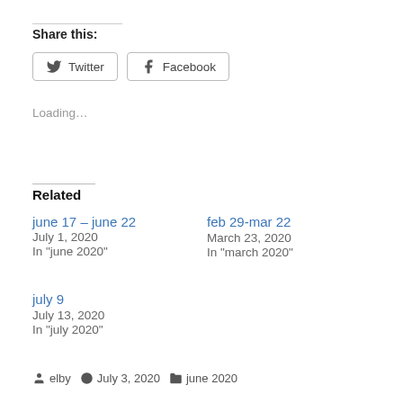Share this:
Twitter  Facebook
Loading…
Related
june 17 – june 22
July 1, 2020
In "june 2020"
feb 29-mar 22
March 23, 2020
In "march 2020"
july 9
July 13, 2020
In "july 2020"
elby  July 3, 2020  june 2020